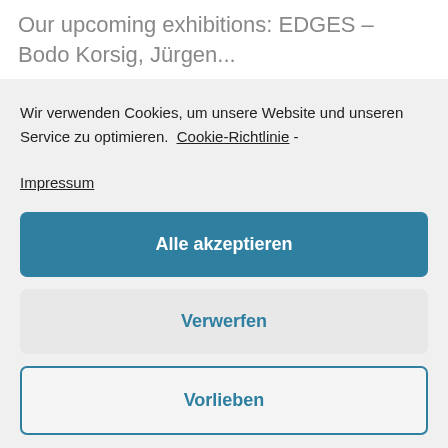Our upcoming exhibitions: EDGES – Bodo Korsig, Jürgen...
Wir verwenden Cookies, um unsere Website und unseren Service zu optimieren. Cookie-Richtlinie - Impressum
Alle akzeptieren
Verwerfen
Vorlieben
[Figure (logo): WhatsApp icon button (green rounded square with white phone/chat icon)]